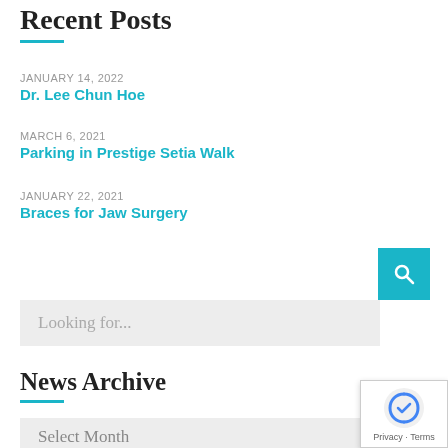Recent Posts
JANUARY 14, 2022
Dr. Lee Chun Hoe
MARCH 6, 2021
Parking in Prestige Setia Walk
JANUARY 22, 2021
Braces for Jaw Surgery
[Figure (other): Teal search button with magnifying glass icon]
[Figure (other): Search input box with placeholder text 'Looking for...']
News Archive
[Figure (other): Dropdown select box with 'Select Month' placeholder]
[Figure (other): reCAPTCHA badge with Privacy and Terms text]